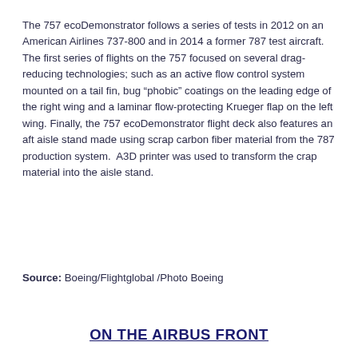The 757 ecoDemonstrator follows a series of tests in 2012 on an American Airlines 737-800 and in 2014 a former 787 test aircraft. The first series of flights on the 757 focused on several drag-reducing technologies; such as an active flow control system mounted on a tail fin, bug “phobic” coatings on the leading edge of the right wing and a laminar flow-protecting Krueger flap on the left wing. Finally, the 757 ecoDemonstrator flight deck also features an aft aisle stand made using scrap carbon fiber material from the 787 production system.  A3D printer was used to transform the crap material into the aisle stand.
Source: Boeing/Flightglobal /Photo Boeing
ON THE AIRBUS FRONT